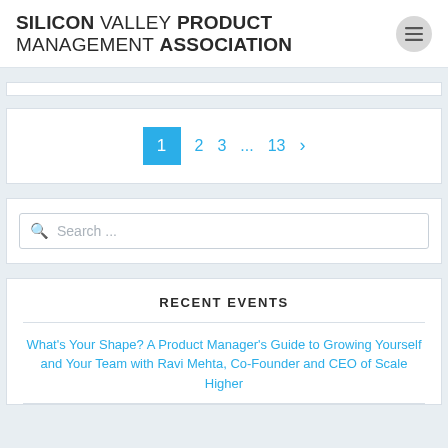SILICON VALLEY PRODUCT MANAGEMENT ASSOCIATION
1 2 3 ... 13 >
Search ...
RECENT EVENTS
What’s Your Shape? A Product Manager’s Guide to Growing Yourself and Your Team with Ravi Mehta, Co-Founder and CEO of Scale Higher